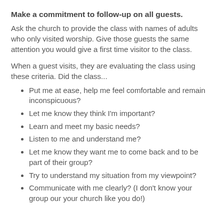Make a commitment to follow-up on all guests.
Ask the church to provide the class with names of adults who only visited worship. Give those guests the same attention you would give a first time visitor to the class.
When a guest visits, they are evaluating the class using these criteria. Did the class...
Put me at ease, help me feel comfortable and remain inconspicuous?
Let me know they think I'm important?
Learn and meet my basic needs?
Listen to me and understand me?
Let me know they want me to come back and to be part of their group?
Try to understand my situation from my viewpoint?
Communicate with me clearly? (I don't know your group our your church like you do!)